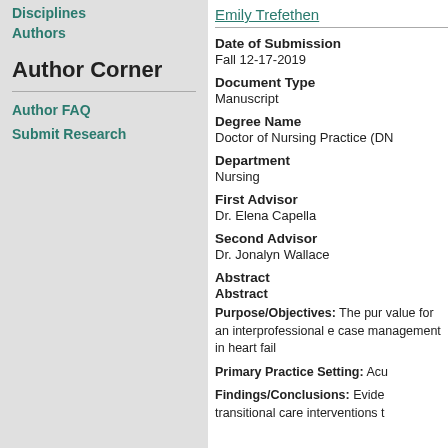Disciplines
Authors
Author Corner
Author FAQ
Submit Research
Emily Trefethen
Date of Submission
Fall 12-17-2019
Document Type
Manuscript
Degree Name
Doctor of Nursing Practice (DN
Department
Nursing
First Advisor
Dr. Elena Capella
Second Advisor
Dr. Jonalyn Wallace
Abstract
Abstract
Purpose/Objectives: The pur value for an interprofessional e case management in heart fail
Primary Practice Setting: Acu
Findings/Conclusions: Evide transitional care interventions t